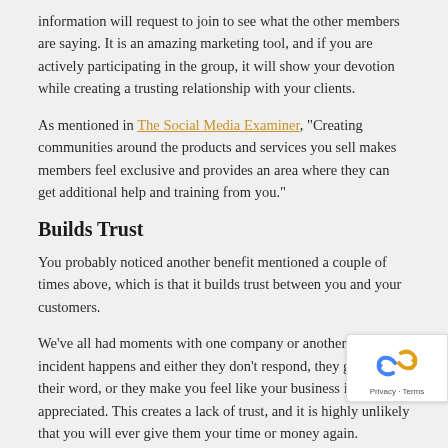information will request to join to see what the other members are saying. It is an amazing marketing tool, and if you are actively participating in the group, it will show your devotion while creating a trusting relationship with your clients.
As mentioned in The Social Media Examiner, "Creating communities around the products and services you sell makes members feel exclusive and provides an area where they can get additional help and training from you."
Builds Trust
You probably noticed another benefit mentioned a couple of times above, which is that it builds trust between you and your customers.
We've all had moments with one company or another, where an incident happens and either they don't respond, they go back on their word, or they make you feel like your business is not appreciated. This creates a lack of trust, and it is highly unlikely that you will ever give them your time or money again.
In a group for your business, you can remain consistent